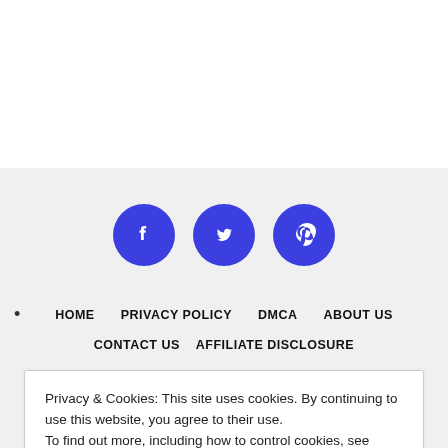[Figure (illustration): Three blue circular social media icon buttons: Facebook (f), Twitter (bird), Pinterest (p)]
HOME   PRIVACY POLICY   DMCA   ABOUT US
CONTACT US   AFFILIATE DISCLOSURE
Privacy & Cookies: This site uses cookies. By continuing to use this website, you agree to their use.
To find out more, including how to control cookies, see here: Cookie Policy
Close and accept
^ TOP